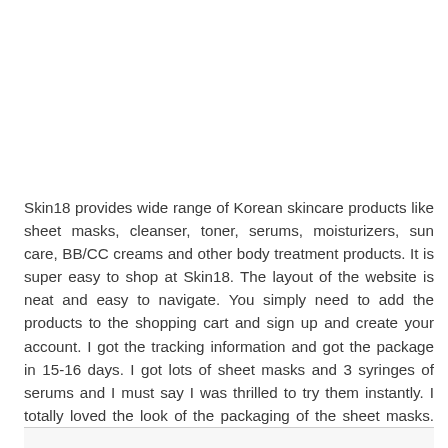Skin18 provides wide range of Korean skincare products like sheet masks, cleanser, toner, serums, moisturizers, sun care, BB/CC creams and other body treatment products. It is super easy to shop at Skin18. The layout of the website is neat and easy to navigate. You simply need to add the products to the shopping cart and sign up and create your account. I got the tracking information and got the package in 15-16 days. I got lots of sheet masks and 3 syringes of serums and I must say I was thrilled to try them instantly. I totally loved the look of the packaging of the sheet masks. They are way too pretty and difficult to resist.